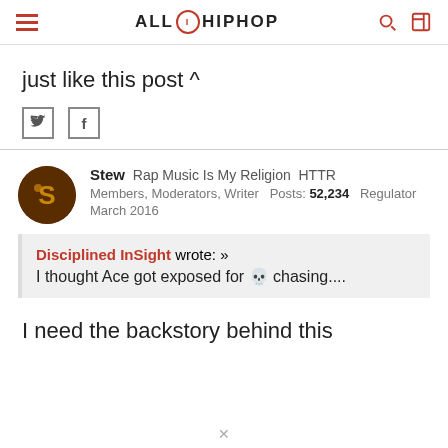ALLHIPHOP
just like this post ^
Stew  Rap Music Is My Religion  HTTR
Members, Moderators, Writer  Posts: 52,234  Regulator
March 2016
Disciplined InSight wrote: »
I thought Ace got exposed for 💀 chasing....
I need the backstory behind this